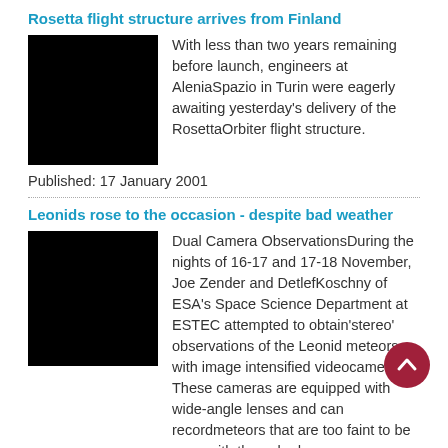Rosetta flight structure arrives from Finland
[Figure (photo): Black redacted/placeholder image for Rosetta article]
With less than two years remaining before launch, engineers at AleniaSpazio in Turin were eagerly awaiting yesterday's delivery of the RosettaOrbiter flight structure.
Published: 17 January 2001
Leonids rose to the occasion - despite bad weather
[Figure (photo): Black redacted/placeholder image for Leonids article]
Dual Camera ObservationsDuring the nights of 16-17 and 17-18 November, Joe Zender and DetlefKoschny of ESA's Space Science Department at ESTEC attempted to obtain'stereo' observations of the Leonid meteors with image intensified videocameras. These cameras are equipped with wide-angle lenses and can recordmeteors that are too faint to be seen with the naked eye.